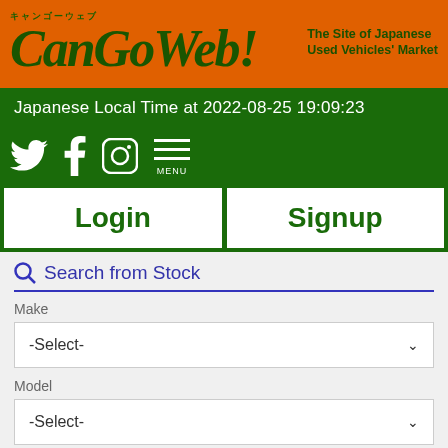[Figure (logo): CanGoWeb logo on orange background with tagline 'The Site of Japanese Used Vehicles' Market' and Japanese text キャンゴーウェブ]
Japanese Local Time at 2022-08-25 19:09:23
[Figure (illustration): Social media icons: Twitter, Facebook, Instagram, and Menu hamburger icon on green background]
Login
Signup
Search from Stock
Make
-Select-
Model
-Select-
Registration Year